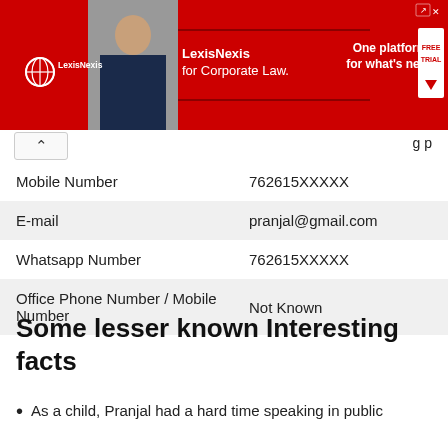[Figure (other): LexisNexis advertisement banner: red background with logo, photo of businessman, text 'LexisNexis for Corporate Law.' and 'One platform for what's next.' with FREE TRIAL button]
| Mobile Number | 762615XXXXX |
| E-mail | pranjal@gmail.com |
| Whatsapp Number | 762615XXXXX |
| Office Phone Number / Mobile Number | Not Known |
Some lesser known Interesting facts
As a child, Pranjal had a hard time speaking in public